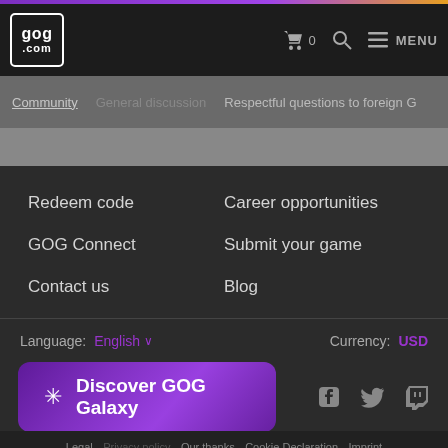GOG.COM navigation bar with logo, cart (0), search, and MENU
Community   General discussion   Respectful questions to foreign G
Redeem code
Career opportunities
GOG Connect
Submit your game
Contact us
Blog
Language: English ∨    Currency: USD
[Figure (screenshot): Discover GOG Galaxy button with snowflake/asterisk icon, purple gradient]
[Figure (screenshot): Social media icons: Facebook, Twitter, Twitch]
Legal   Privacy policy   Our thanks   Cookie Declaration   Imprint
© GOG sp. z o.o. All rights reserved. All trademarks and registered trademarks are the property of their respective owners.